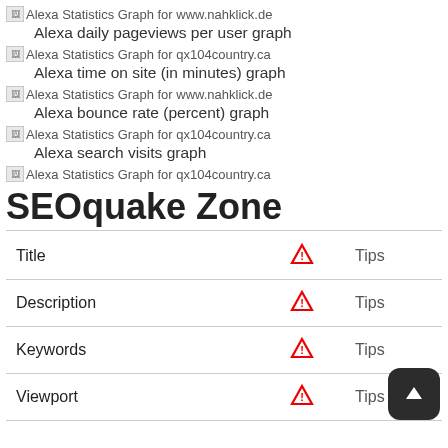[Figure (screenshot): Alexa Statistics Graph for www.nahklick.de - broken image icon with alt text]
Alexa daily pageviews per user graph
[Figure (screenshot): Alexa Statistics Graph for qx104country.ca - broken image icon with alt text]
Alexa time on site (in minutes) graph
[Figure (screenshot): Alexa Statistics Graph for www.nahklick.de - broken image icon with alt text]
Alexa bounce rate (percent) graph
[Figure (screenshot): Alexa Statistics Graph for qx104country.ca - broken image icon with alt text]
Alexa search visits graph
[Figure (screenshot): Alexa Statistics Graph for qx104country.ca - broken image icon with alt text]
SEOquake Zone
| Title |  | Tips |
| --- | --- | --- |
| Description |  | Tips |
| Keywords |  | Tips |
| Viewport |  | Tips |